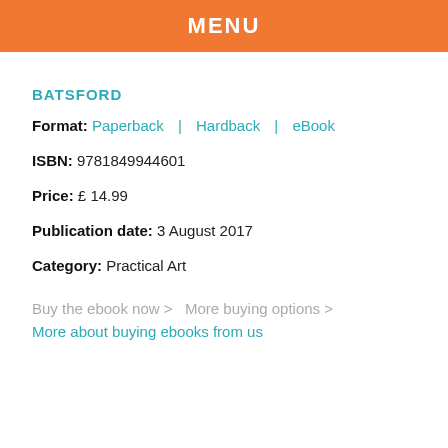MENU
BATSFORD
Format: Paperback | Hardback | eBook
ISBN: 9781849944601
Price: £ 14.99
Publication date: 3 August 2017
Category: Practical Art
Buy the ebook now >  More buying options >
More about buying ebooks from us